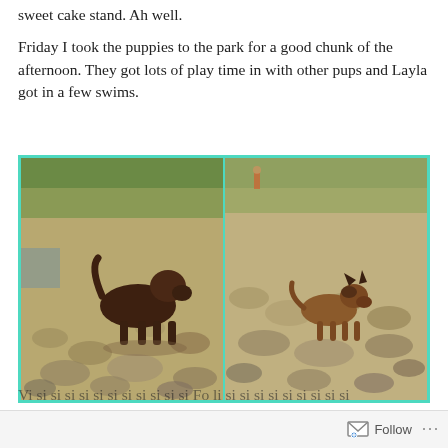sweet cake stand. Ah well.
Friday I took the puppies to the park for a good chunk of the afternoon. They got lots of play time in with other pups and Layla got in a few swims.
[Figure (photo): Two side-by-side photos of dogs on a rocky riverbank/gravel area. Left photo shows a dark brown Labrador standing on rocks. Right photo shows a smaller dog (appears to be a German Shepherd mix) on a similar rocky area.]
(partial text cut off at bottom)
Follow